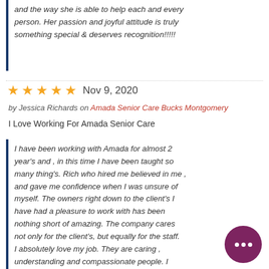and the way she is able to help each and every person. Her passion and joyful attitude is truly something special & deserves recognition!!!!!
★★★★★  Nov 9, 2020
by Jessica Richards on Amada Senior Care Bucks Montgomery
I Love Working For Amada Senior Care
I have been working with Amada for almost 2 year's and , in this time I have been taught so many thing's. Rich who hired me believed in me , and gave me confidence when I was unsure of myself. The owners right down to the client's I have had a pleasure to work with has been nothing short of amazing. The company cares not only for the client's, but equally for the staff. I absolutely love my job. They are caring , understanding and compassionate people. I good not be more pleased with the